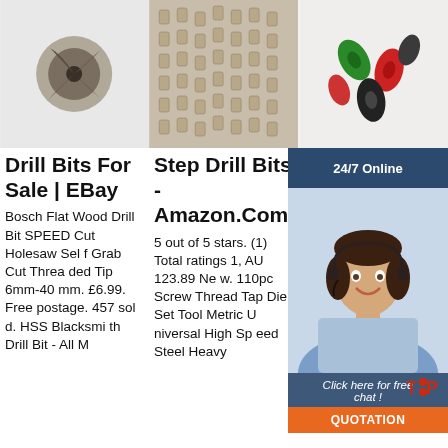[Figure (photo): Close-up of a single dark metal drill bit/cutting tool on white background]
[Figure (photo): Many small metal step drill bits/cutting tools arranged on a flat surface]
[Figure (photo): Colorful (red, green, black) screw tap/die tool pieces on white background]
Drill Bits For Sale | EBay
Bosch Flat Wood Drill Bit SPEED Cut Holesaw Self Grab Cut Threaded Tip 6mm-40mm. £6.99. Free postage. 457 sold. HSS Blacksmith Drill Bit - All M
Step Drill Bits - Amazon.Com
5 out of 5 stars. (1) Total ratings 1, AU 123.89 New. 110pc Screw Thread Tap Die Set Tool Metric Universal High Speed Steel Heavy
Me Thr Die | S
It's h qu a wide range of sturdy materials, and Facom screwdriver bit sets a re consistently p
[Figure (photo): Customer service representative woman with headset smiling, with chat overlay showing 24/7 Online, Click here for free chat, and QUOTATION button]